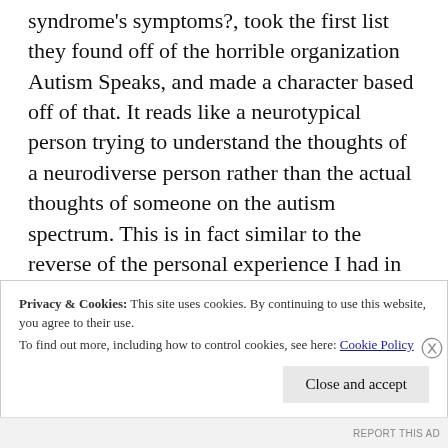syndrome's symptoms?, took the first list they found off of the horrible organization Autism Speaks, and made a character based off of that. It reads like a neurotypical person trying to understand the thoughts of a neurodiverse person rather than the actual thoughts of someone on the autism spectrum. This is in fact similar to the reverse of the personal experience I had in my own writing – neurotypical people reading my work could tell something was off, that maybe I was not
Privacy & Cookies: This site uses cookies. By continuing to use this website, you agree to their use.
To find out more, including how to control cookies, see here: Cookie Policy
Close and accept